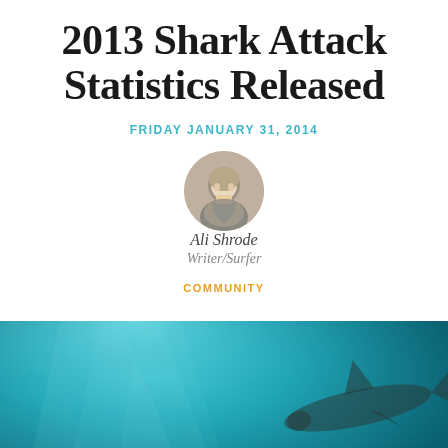2013 Shark Attack Statistics Released
FRIDAY JANUARY 31, 2014
[Figure (photo): Circular headshot of author Ali Shrode, a young woman with blonde hair, smiling, in black and white]
Ali Shrode
Writer/Surfer
COMMUNITY
[Figure (photo): Underwater ocean scene with teal/blue water and a shark visible in the background on the right side. At the bottom is a dark navy advertisement banner reading 'DO YEWWW' with an IKON PASS logo on a yellow/orange background.]